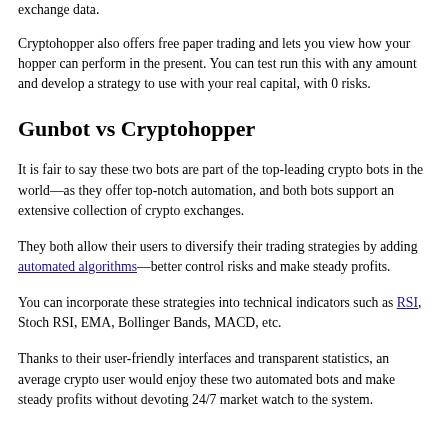exchange data.
Cryptohopper also offers free paper trading and lets you view how your hopper can perform in the present. You can test run this with any amount and develop a strategy to use with your real capital, with 0 risks.
Gunbot vs Cryptohopper
It is fair to say these two bots are part of the top-leading crypto bots in the world—as they offer top-notch automation, and both bots support an extensive collection of crypto exchanges.
They both allow their users to diversify their trading strategies by adding automated algorithms—better control risks and make steady profits.
You can incorporate these strategies into technical indicators such as RSI, Stoch RSI, EMA, Bollinger Bands, MACD, etc.
Thanks to their user-friendly interfaces and transparent statistics, an average crypto user would enjoy these two automated bots and make steady profits without devoting 24/7 market watch to the system.